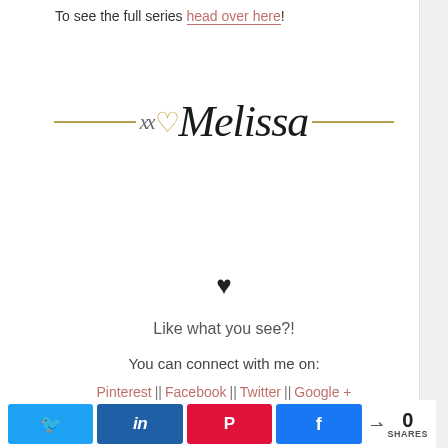To see the full series head over here!
[Figure (illustration): Handwritten script signature reading 'xx heart Melissa' with a gold/tan horizontal line on either side, decorative cursive style]
♥
Like what you see?!
You can connect with me on:
Pinterest || Facebook || Twitter || Google +
0 SHARES (with share buttons for Twitter, LinkedIn, Pinterest, Facebook)